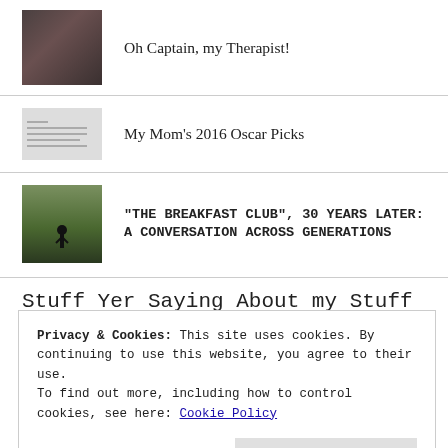Oh Captain, my Therapist!
My Mom's 2016 Oscar Picks
“THE BREAKFAST CLUB”, 30 YEARS LATER: A CONVERSATION ACROSS GENERATIONS
Stuff Yer Saying About my Stuff
Privacy & Cookies: This site uses cookies. By continuing to use this website, you agree to their use.
To find out more, including how to control cookies, see here: Cookie Policy
Close and accept